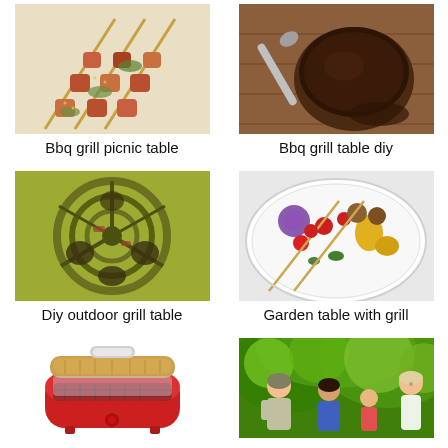[Figure (photo): BBQ skewers with grilled meat and vegetables on wooden skewers]
Bbq grill picnic table
[Figure (photo): BBQ sauce in a bowl with a spoon on a wooden surface]
Bbq grill table diy
[Figure (photo): Overhead view of a grill with food cooking, green and yellow coloring]
Diy outdoor grill table
[Figure (photo): Colorful grilled vegetable skewers on a white plate with tomatoes, peppers, onions, and mushrooms]
Garden table with grill
[Figure (photo): Red portable indoor grill with wooden lid and chrome handle]
[Figure (photo): Family gathered outdoors for a barbecue in green garden setting]